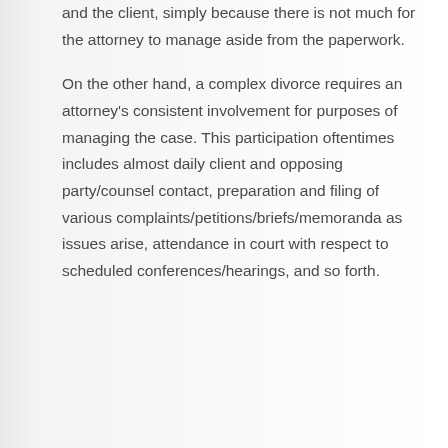and the client, simply because there is not much for the attorney to manage aside from the paperwork.
On the other hand, a complex divorce requires an attorney's consistent involvement for purposes of managing the case. This participation oftentimes includes almost daily client and opposing party/counsel contact, preparation and filing of various complaints/petitions/briefs/memoranda as issues arise, attendance in court with respect to scheduled conferences/hearings, and so forth.